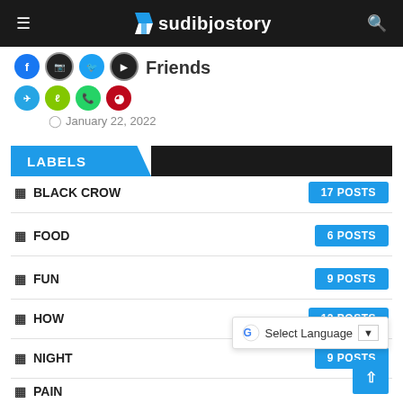sudibjostory
Friends
January 22, 2022
LABELS
BLACK CROW  17 POSTS
FOOD  6 POSTS
FUN  9 POSTS
HOW  12 POSTS
NIGHT  9 POSTS
PAIN  11 POSTS
SAFE  10 POSTS